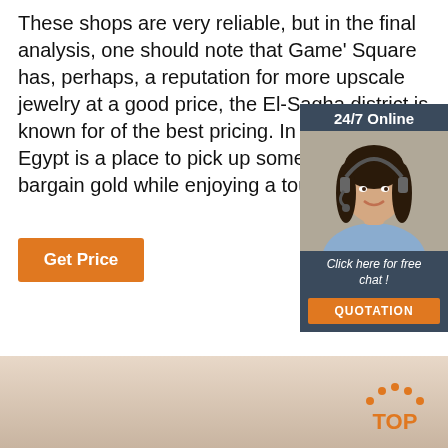These shops are very reliable, but in the final analysis, one should note that Game' Square has, perhaps, a reputation for more upscale jewelry at a good price, the El-Sagha district is known for of the best pricing. In any event, Egypt is a place to pick up some good, bargain gold while enjoying a tour of a lifetime.
[Figure (other): Orange 'Get Price' button]
[Figure (other): 24/7 Online chat widget with a woman wearing a headset, 'Click here for free chat!' text and an orange QUOTATION button]
[Figure (logo): TOP logo with orange dots arc above orange text reading TOP]